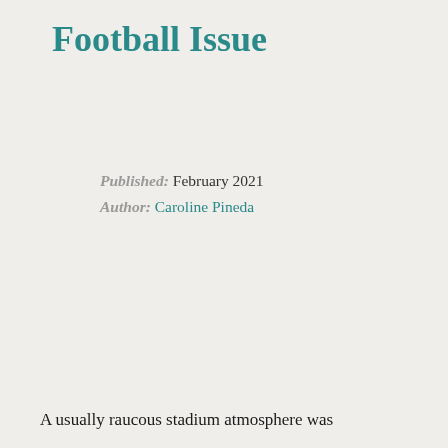Football Issue
Published: February 2021
Author: Caroline Pineda
A usually raucous stadium atmosphere was